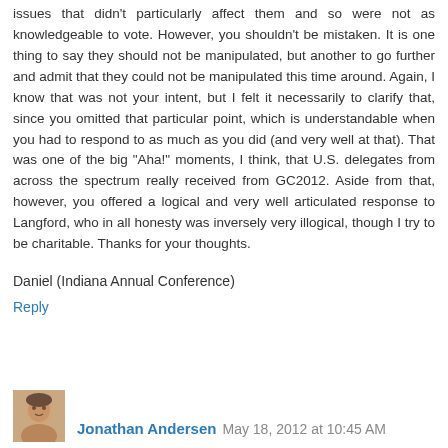issues that didn't particularly affect them and so were not as knowledgeable to vote. However, you shouldn't be mistaken. It is one thing to say they should not be manipulated, but another to go further and admit that they could not be manipulated this time around. Again, I know that was not your intent, but I felt it necessarily to clarify that, since you omitted that particular point, which is understandable when you had to respond to as much as you did (and very well at that). That was one of the big "Aha!" moments, I think, that U.S. delegates from across the spectrum really received from GC2012. Aside from that, however, you offered a logical and very well articulated response to Langford, who in all honesty was inversely very illogical, though I try to be charitable. Thanks for your thoughts.
Daniel (Indiana Annual Conference)
Reply
Jonathan Andersen May 18, 2012 at 10:45 AM